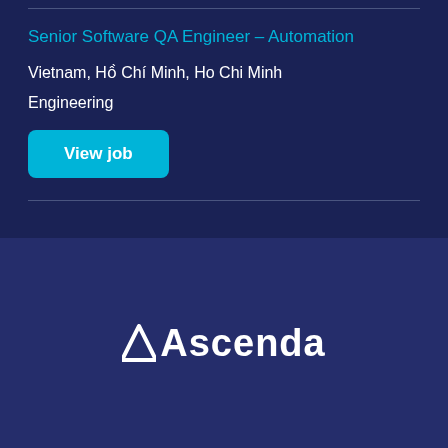Senior Software QA Engineer – Automation
Vietnam, Hồ Chí Minh, Ho Chi Minh
Engineering
View job
[Figure (logo): Ascenda company logo in white text on dark blue background]